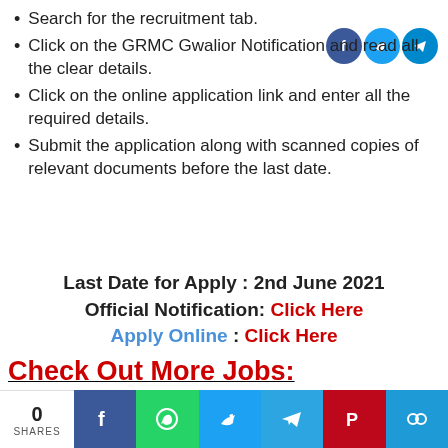Search for the recruitment tab.
Click on the GRMC Gwalior Notification and read all the clear details.
Click on the online application link and enter all the required details.
Submit the application along with scanned copies of relevant documents before the last date.
Last Date for Apply : 2nd June 2021
Official Notification: Click Here
Apply Online : Click Here
Check Out More Jobs:
[Figure (screenshot): Advertisement box for Groupon Official Site showing title, description and URL]
0 SHARES | Facebook | WhatsApp | Twitter | Telegram | Pinterest | Copy Link